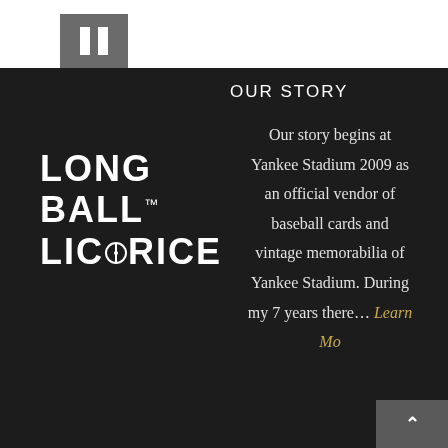[Figure (logo): Pause button icon — grey square with two white vertical bars]
[Figure (logo): Long Ball Licorice logo — white bold uppercase text on dark background with trademark symbol]
OUR STORY
Our story begins at Yankee Stadium 2009 as an official vendor of baseball cards and vintage memorabilia of Yankee Stadium. During my 7 years there… Learn More